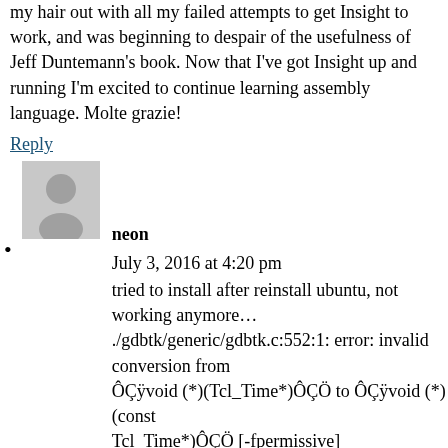my hair out with all my failed attempts to get Insight to work, and was beginning to despair of the usefulness of Jeff Duntemann's book. Now that I've got Insight up and running I'm excited to continue learning assembly language. Molte grazie!
Reply
[Figure (photo): Default user avatar - grey silhouette of a person on light grey background]
neon
July 3, 2016 at 4:20 pm
tried to install after reinstall ubuntu, not working anymore…
./gdbtk/generic/gdbtk.c:552:1: error: invalid conversion from ÔÇÿvoid (*)(Tcl_Time*)ÔÇÖ to ÔÇÿvoid (*)(const Tcl_Time*)ÔÇÖ [-fpermissive]
};
^
./gdbtk/generic/gdbtk.c:552:1: error: invalid conversion from ÔÇÿint (*)(Tcl_Time*)ÔÇÖ to ÔÇÿint (*)(const Tcl_Time*)ÔÇÖ [-fpermissive]